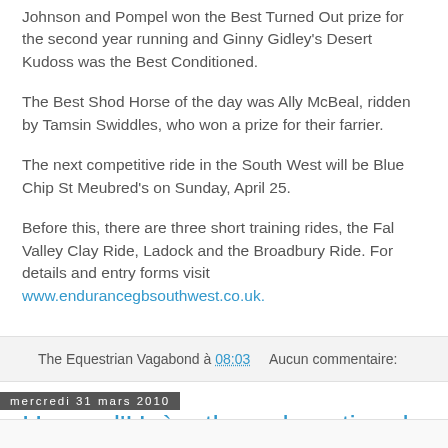Johnson and Pompel won the Best Turned Out prize for the second year running and Ginny Gidley's Desert Kudoss was the Best Conditioned.
The Best Shod Horse of the day was Ally McBeal, ridden by Tamsin Swiddles, who won a prize for their farrier.
The next competitive ride in the South West will be Blue Chip St Meubred's on Sunday, April 25.
Before this, there are three short training rides, the Fal Valley Clay Ride, Ladock and the Broadbury Ride. For details and entry forms visit www.endurancegbsouthwest.co.uk.
The Equestrian Vagabond à 08:03    Aucun commentaire:
mercredi 31 mars 2010
Haras d'Uzès: the only national studfarm in the South of France